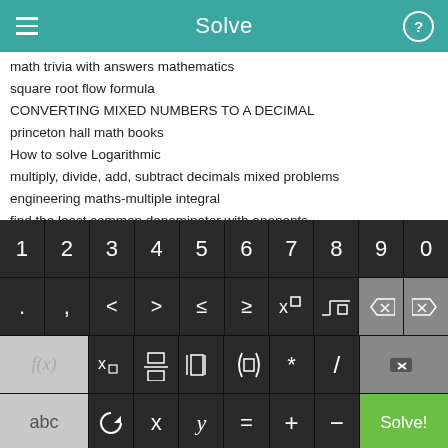Solve
math trivia with answers mathematics
square root flow formula
CONVERTING MIXED NUMBERS TO A DECIMAL
princeton hall math books
How to solve Logarithmic
multiply, divide, add, subtract decimals mixed problems
engineering maths-multiple integral
find the least common denominator with eponents
math function rules lesson plan for fourth grade
adding, subtracting, multiplying and dividing decimals
[Figure (screenshot): Math keyboard with digits 1-0, operators, symbols (f(x), x subscript, fraction, absolute value, parentheses, *, /), abc, rotate, x, y, =, +, -, and Solve! button on a dark background]